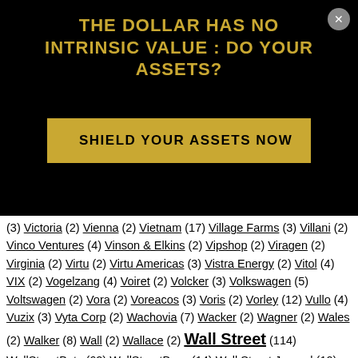THE DOLLAR HAS NO INTRINSIC VALUE : DO YOUR ASSETS?
SHIELD YOUR ASSETS NOW
(3) Victoria (2) Vienna (2) Vietnam (17) Village Farms (3) Villani (2) Vinco Ventures (4) Vinson & Elkins (2) Vipshop (2) Viragen (2) Virginia (2) Virtu (2) Virtu Americas (3) Vistra Energy (2) Vitol (4) VIX (2) Vogelzang (4) Voiret (2) Volcker (3) Volkswagen (5) Voltswagen (2) Vora (2) Voreacos (3) Voris (2) Vorley (12) Vullo (4) Vuzix (3) Vyta Corp (2) Wachovia (7) Wacker (2) Wagner (2) Wales (2) Walker (8) Wall (2) Wallace (2) Wall Street (114) WallStreetBets (62) WallStreetBoys (14) Wall Street Journal (10) Walsh (5) Wang (3) Ward (2) Warner (2) Warren (8) Warshaw Burstein (2) Washington (21) Waters (12) Watsa (2) Watson (4) Waxman (2) Webb (4) Webber (4) Weber (4) Webster (2) WeBull Financial (2) Wedbush Securities (3) Weibo (3) Weiner (2) Weinglass (2) Weinstein (3) Weiss (26) Weko (2) Welborn (3) Wells (2) Wells Fargo (12) Welsh (2) ... (2) Westborough (2)